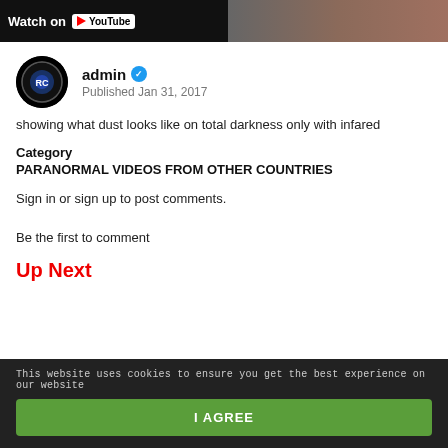[Figure (screenshot): Top banner with 'Watch on YouTube' text on dark background with partial image on the right]
admin ✓
Published Jan 31, 2017
showing what dust looks like on total darkness only with infared
Category
PARANORMAL VIDEOS FROM OTHER COUNTRIES
Sign in or sign up to post comments.
Be the first to comment
Up Next
This website uses cookies to ensure you get the best experience on our website
I AGREE